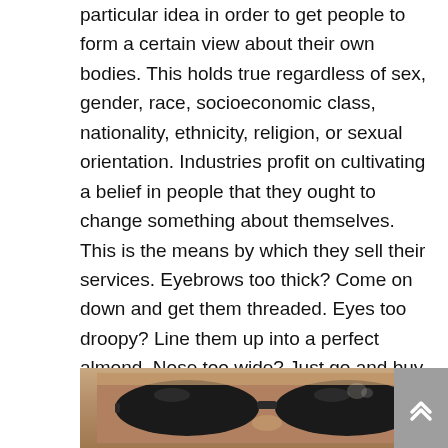particular idea in order to get people to form a certain view about their own bodies. This holds true regardless of sex, gender, race, socioeconomic class, nationality, ethnicity, religion, or sexual orientation. Industries profit on cultivating a belief in people that they ought to change something about themselves. This is the means by which they sell their services. Eyebrows too thick? Come on down and get them threaded. Eyes too droopy? Line them up into a perfect almond. Nose too wide? Just go and buy a new one. Lips too thin? There's an injection for that—or the Kylie Jenner challenge. Too much fat on your bones? All you need is an incision and some suction. Waist too wide? Take a couple ribs out and be on your way.
[Figure (photo): Close-up photo of a person wearing dark sunglasses, showing the top portion of the face, on a warm brown background.]